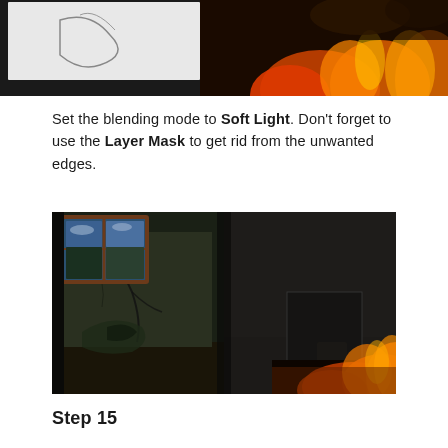[Figure (photo): Partial top image showing a figure/sketch on white background on the left and fire/flames effect on the right, with dark background]
Set the blending mode to Soft Light. Don't forget to use the Layer Mask to get rid from the unwanted edges.
[Figure (photo): Dark abandoned room interior with cracked green walls, a broken window showing trees and sky, flames and fire visible in the lower right portion of the image]
Step 15